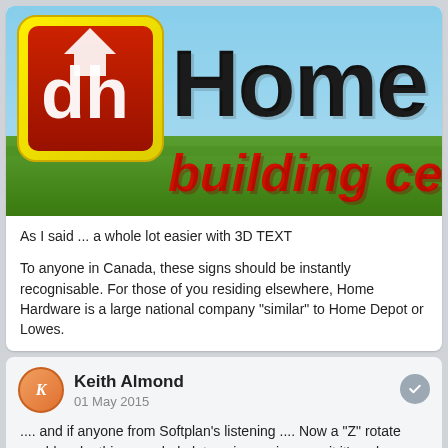[Figure (logo): Home Hardware Building Centre logo with 3D text on a grass background. Red square icon with 'dh' letters on left, large 3D black 'Home' text and red 'building centre' text on right.]
As I said ... a whole lot easier with 3D TEXT
To anyone in Canada, these signs should be instantly recognisable. For those of you residing elsewhere, Home Hardware is a large national company "similar" to Home Depot or Lowes.
Keith Almond
01 May 2015
.... and if anyone from Softplan's listening .... Now a "Z" rotate would make things a whole lot easier again, even it it's only a one click 90°Z rotate ... I'd be a very happy camper. I expect Randy would too.